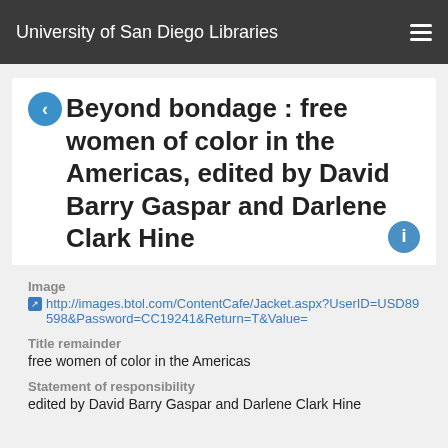University of San Diego Libraries
Beyond bondage : free women of color in the Americas, edited by David Barry Gaspar and Darlene Clark Hine
Image
http://images.btol.com/ContentCafe/Jacket.aspx?UserID=USD89598&Password=CC19241&Return=T&Value=
Title remainder
free women of color in the Americas
Statement of responsibility
edited by David Barry Gaspar and Darlene Clark Hine